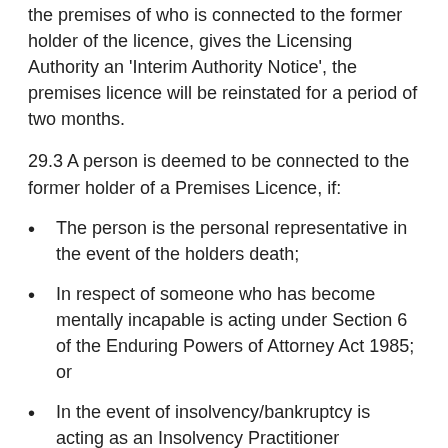the premises of who is connected to the former holder of the licence, gives the Licensing Authority an 'Interim Authority Notice', the premises licence will be reinstated for a period of two months.
29.3 A person is deemed to be connected to the former holder of a Premises Licence, if:
The person is the personal representative in the event of the holders death;
In respect of someone who has become mentally incapable is acting under Section 6 of the Enduring Powers of Attorney Act 1985; or
In the event of insolvency/bankruptcy is acting as an Insolvency Practitioner